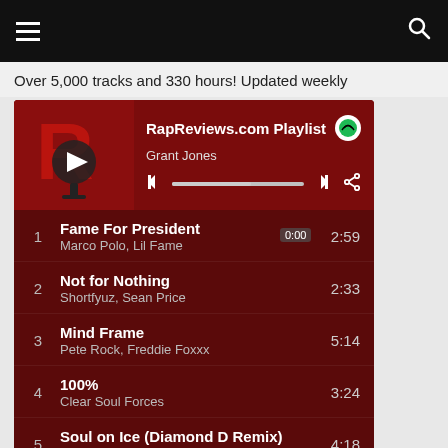☰  [search icon]
Over 5,000 tracks and 330 hours! Updated weekly
[Figure (screenshot): Spotify playlist card for RapReviews.com Playlist by Grant Jones, showing logo, playback controls, progress bar at 0:00]
1  Fame For President  2:59
Marco Polo, Lil Fame
2  Not for Nothing  2:33
Shortfyuz, Sean Price
3  Mind Frame  5:14
Pete Rock, Freddie Foxxx
4  100%  3:24
Clear Soul Forces
5  Soul on Ice (Diamond D Remix)  4:18
Ras Kass, Diamond D
6  10 Toes (feat. HMD)  3:21
Children of Zeus, HMD